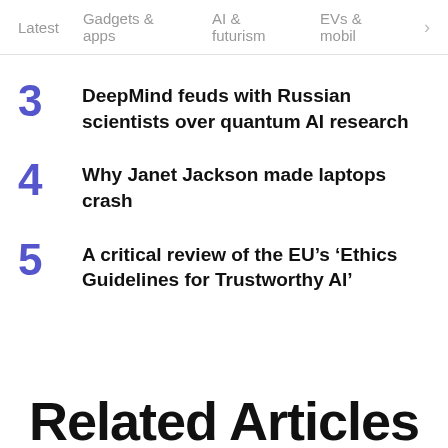Latest  Gadgets & apps  AI & futurism  EVs & mobil  >
3  DeepMind feuds with Russian scientists over quantum AI research
4  Why Janet Jackson made laptops crash
5  A critical review of the EU’s ‘Ethics Guidelines for Trustworthy AI’
Related Articles